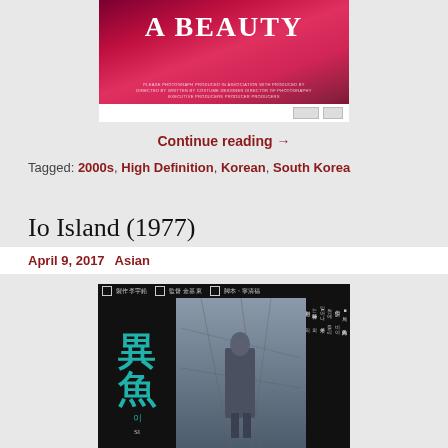[Figure (photo): Movie poster showing 'A Beauty' text in white on a red/pink background with roses]
Continue reading →
Tagged: 2000s, High Definition, Korean, South Korea
Io Island (1977)
April 9, 2017  Asian
[Figure (photo): Movie poster for Io Island (1977) showing Chinese/Korean characters and a man in a suit standing in front of ropes or nets, with Korean text on the right side]